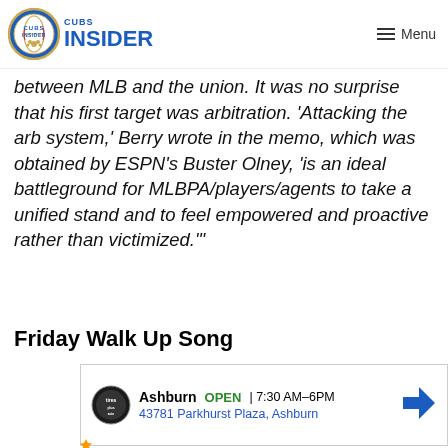Cubs Insider — Menu
between MLB and the union. It was no surprise that his first target was arbitration. ‘Attacking the arb system,’ Berry wrote in the memo, which was obtained by ESPN’s Buster Olney, ‘is an ideal battleground for MLBPA/players/agents to take a unified stand and to feel empowered and proactive rather than victimized.’”
Friday Walk Up Song
[Figure (other): Auto parts store advertisement: Ashburn, OPEN 7:30 AM–6PM, 43781 Parkhurst Plaza, Ashburn]